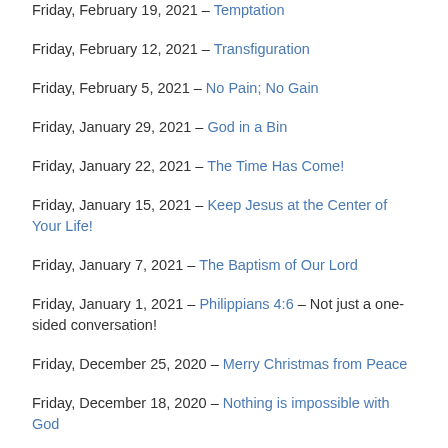Friday, February 19, 2021 – Temptation
Friday, February 12, 2021 – Transfiguration
Friday, February 5, 2021 – No Pain; No Gain
Friday, January 29, 2021 – God in a Bin
Friday, January 22, 2021 – The Time Has Come!
Friday, January 15, 2021 – Keep Jesus at the Center of Your Life!
Friday, January 7, 2021 – The Baptism of Our Lord
Friday, January 1, 2021 – Philippians 4:6 – Not just a one-sided conversation!
Friday, December 25, 2020 – Merry Christmas from Peace
Friday, December 18, 2020 – Nothing is impossible with God